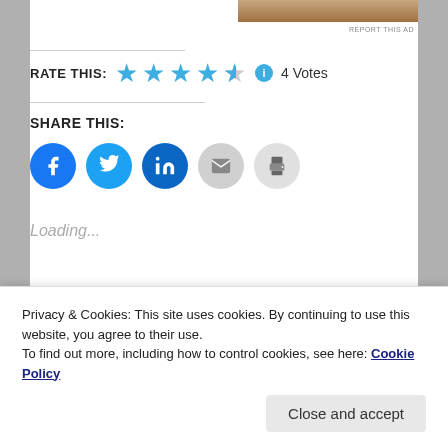[Figure (photo): Partial photo of person(s) at top right]
REPORT THIS AD
[Figure (other): Star rating: 4.5 out of 5 stars, 4 Votes, with info icon]
SHARE THIS:
[Figure (other): Social share buttons: Facebook, Twitter, LinkedIn, Email, Print]
Loading...
RELATED
Privacy & Cookies: This site uses cookies. By continuing to use this website, you agree to their use.
To find out more, including how to control cookies, see here: Cookie Policy
Close and accept
In "Angular"